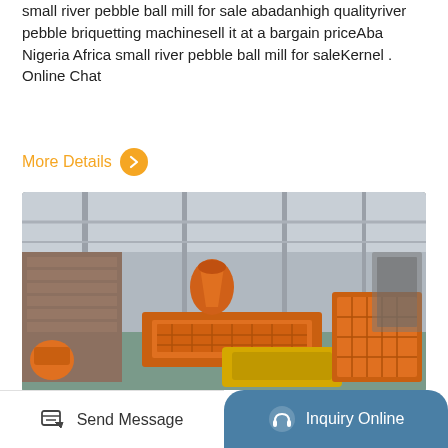small river pebble ball mill for sale abadanhigh qualityriver pebble briquetting machinesell it at a bargain priceAba Nigeria Africa small river pebble ball mill for saleKernel . Online Chat
More Details
[Figure (photo): Industrial factory floor with orange heavy mining/crushing equipment including vibrating screens and crushers, stacked brick-like materials on the left, large warehouse space with steel roof structure]
Send Message   Inquiry Online